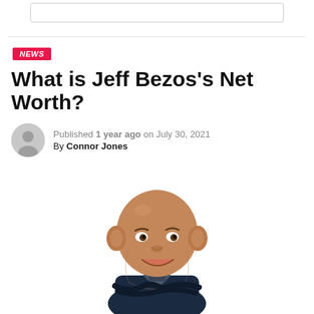What is Jeff Bezos's Net Worth?
Published 1 year ago on July 30, 2021
By Connor Jones
[Figure (illustration): Caricature illustration of Jeff Bezos — bald head, exaggerated smiling features, arms crossed, wearing a dark blazer]